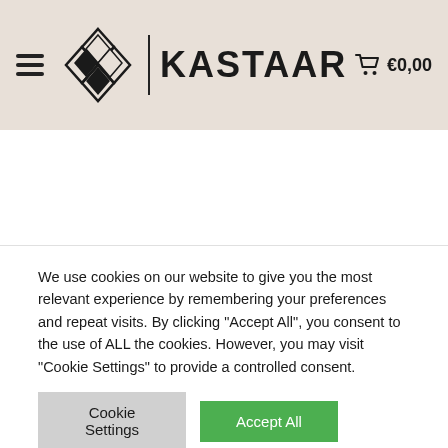[Figure (logo): Kastaar website header with logo (geometric diamond shape), brand name KASTAAR, hamburger menu icon, and shopping cart with €0,00]
[Figure (other): Teal/green filter button with horizontal lines icon on left side of page, and a loading spinner circle in the center of white content area]
We use cookies on our website to give you the most relevant experience by remembering your preferences and repeat visits. By clicking "Accept All", you consent to the use of ALL the cookies. However, you may visit "Cookie Settings" to provide a controlled consent.
Cookie Settings
Accept All